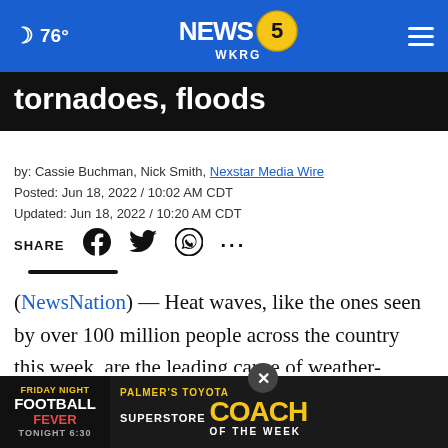🌙 76° | NEWS 5 WKRG
tornadoes, floods
by: Cassie Buchman, Nick Smith, Nexstar Media Wire
Posted: Jun 18, 2022 / 10:02 AM CDT
Updated: Jun 18, 2022 / 10:20 AM CDT
SHARE
(NewsNation) — Heat waves, like the ones seen by over 100 million people across the country this week, are the leading cause of weather-related deaths in the U.S. High temperatures, on average, cause more fatali...
[Figure (screenshot): Advertisement banner: Friday Night Football Fever / Palmer's Toyota Superstore Coach of the Week / Tonight 6:30]